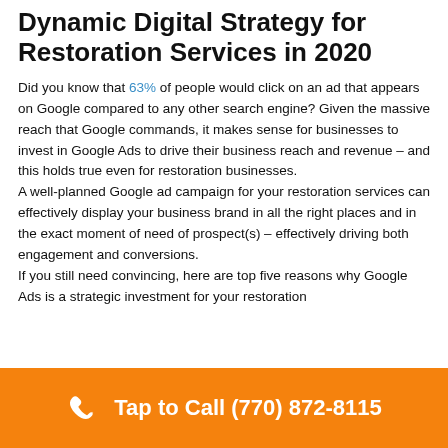Dynamic Digital Strategy for Restoration Services in 2020
Did you know that 63% of people would click on an ad that appears on Google compared to any other search engine? Given the massive reach that Google commands, it makes sense for businesses to invest in Google Ads to drive their business reach and revenue – and this holds true even for restoration businesses.
A well-planned Google ad campaign for your restoration services can effectively display your business brand in all the right places and in the exact moment of need of prospect(s) – effectively driving both engagement and conversions.
If you still need convincing, here are top five reasons why Google Ads is a strategic investment for your restoration
Tap to Call (770) 872-8115